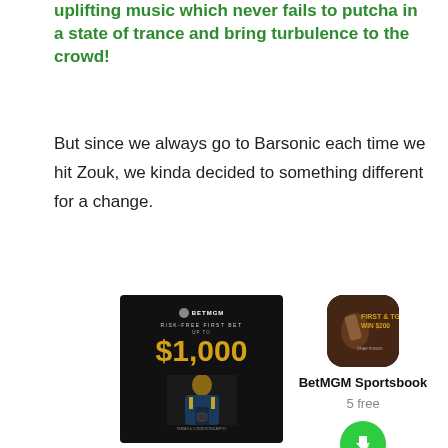uplifting music which never fails to putcha in a state of trance and bring turbulence to the crowd!
But since we always go to Barsonic each time we hit Zouk, we kinda decided to something different for a change.
[Figure (photo): BetMGM advertisement showing Risk-Free First Bet up to $1,000 with a person in a suit holding a phone, dark background]
[Figure (screenshot): BetMGM Sportsbook app icon showing a football player, with app name, price (5 free), and download button]